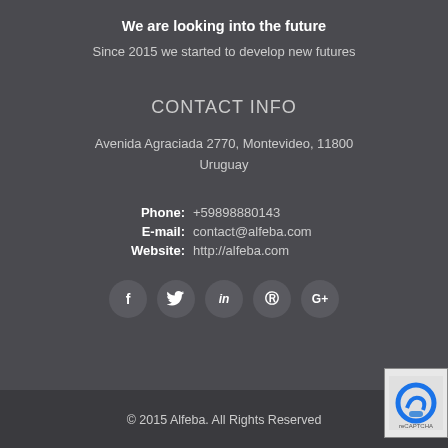We are looking into the future
Since 2015 we started to develop new futures
CONTACT INFO
Avenida Agraciada 2770, Montevideo, 11800
Uruguay
Phone: +59898880143
E-mail: contact@alfeba.com
Website: http://alfeba.com
[Figure (infographic): Row of 5 social media icon circles: Facebook (f), Twitter (bird), LinkedIn (in), Pinterest (P), Google+ (G+)]
© 2015 Alfeba. All Rights Reserved